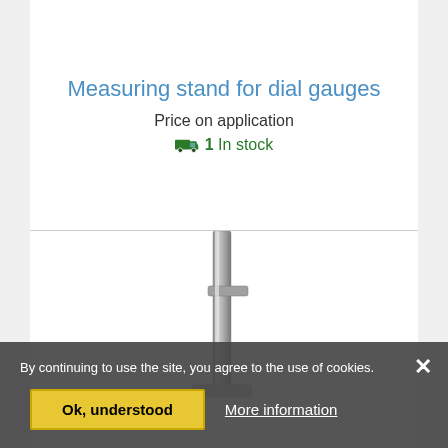Measuring stand for dial gauges
Price on application
1 In stock
[Figure (photo): Photo of a measuring stand for dial gauges — a metal stand with a vertical post visible at the bottom of the frame]
By continuing to use the site, you agree to the use of cookies.
Ok, understood
More information